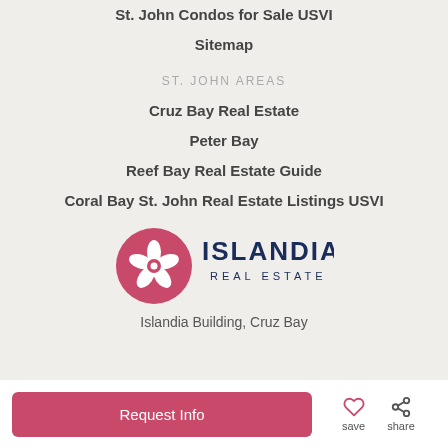St. John Condos for Sale USVI
Sitemap
ST. JOHN AREAS
Cruz Bay Real Estate
Peter Bay
Reef Bay Real Estate Guide
Coral Bay St. John Real Estate Listings USVI
[Figure (logo): Islandia Real Estate logo — red circle with hibiscus flower icon, text ISLANDIA REAL ESTATE in navy blue]
Islandia Building, Cruz Bay
Request Info
save
share